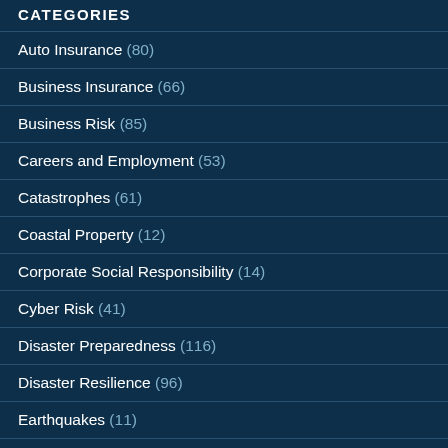CATEGORIES
Auto Insurance (80)
Business Insurance (66)
Business Risk (85)
Careers and Employment (53)
Catastrophes (61)
Coastal Property (12)
Corporate Social Responsibility (14)
Cyber Risk (41)
Disaster Preparedness (116)
Disaster Resilience (96)
Earthquakes (11)
Emerging Risks (42)